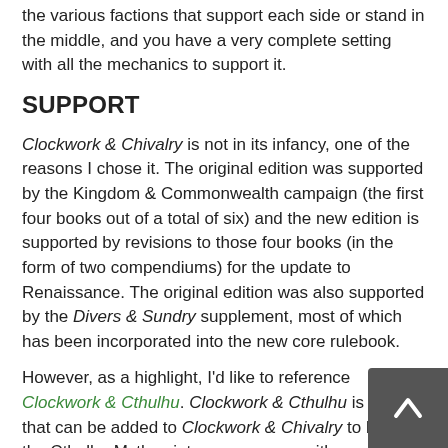the various factions that support each side or stand in the middle, and you have a very complete setting with all the mechanics to support it.
SUPPORT
Clockwork & Chivalry is not in its infancy, one of the reasons I chose it. The original edition was supported by the Kingdom & Commonwealth campaign (the first four books out of a total of six) and the new edition is supported by revisions to those four books (in the form of two compendiums) for the update to Renaissance. The original edition was also supported by the Divers & Sundry supplement, most of which has been incorporated into the new core rulebook.
However, as a highlight, I'd like to reference Clockwork & Cthulhu. Clockwork & Cthulhu is a layer that can be added to Clockwork & Chivalry to bring the Cthulhu Mythos into your games, with some added mechanics for supporting the horror theme. I say layer because it truly sits atop the core mechanics by offering new factions to be a part of, and only introducing a small amount of mechanics to use with this new layer. Characters from both settings can be used between the two, and this new layer focuses more on what's been added to the core system and setting rather than replacing what's already there. In fact, the characters I created for this Featured Product series were done with Clockwork & Cthulhu in mind to get the full feel of the system and this added layer. I then ported them to the core setting flawlessly with no